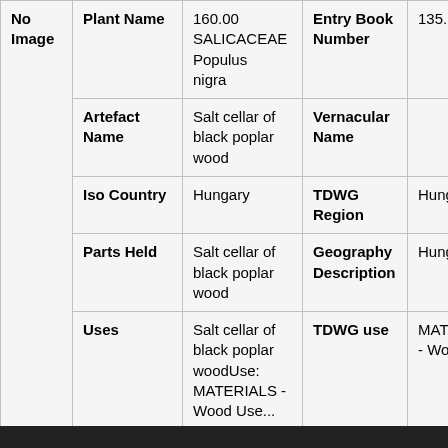| No Image | Plant Name | 160.00
SALICACEAE
Populus nigra | Entry Book Number | 135.1 |
|  | Artefact Name | Salt cellar of black poplar wood | Vernacular Name |  |
|  | Iso Country | Hungary | TDWG Region | Hung |
|  | Parts Held | Salt cellar of black poplar wood | Geography Description | Hung |
|  | Uses | Salt cellar of black poplar woodUse: MATERIALS - Wood Use... | TDWG use | MATE - Woo |